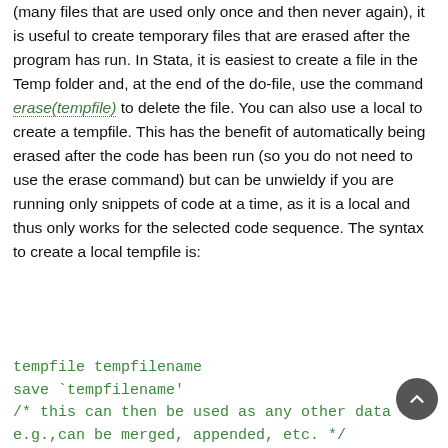(many files that are used only once and then never again), it is useful to create temporary files that are erased after the program has run. In Stata, it is easiest to create a file in the Temp folder and, at the end of the do-file, use the command erase(tempfile) to delete the file. You can also use a local to create a tempfile. This has the benefit of automatically being erased after the code has been run (so you do not need to use the erase command) but can be unwieldy if you are running only snippets of code at a time, as it is a local and thus only works for the selected code sequence. The syntax to create a local tempfile is:
tempfile tempfilename
save `tempfilename'
/* this can then be used as any other data
e.g.,can be merged, appended, etc. */